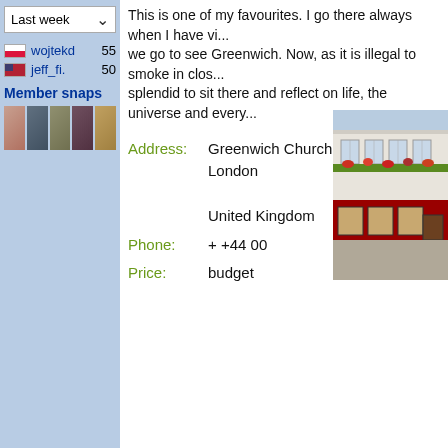Last week (dropdown)
wojtekd 55
jeff_fi. 50
Member snaps
[Figure (photo): Five small member profile photos in a row]
This is one of my favourites. I go there always when I have vi... we go to see Greenwich. Now, as it is illegal to smoke in clos... splendid to sit there and reflect on life, the universe and every...
Address: Greenwich Church Street London United Kingdom
Phone: + +44 00
Price: budget
[Figure (photo): Photo of a pub building on Greenwich Church Street, London, showing a white Georgian building with a red pub frontage and flower boxes]